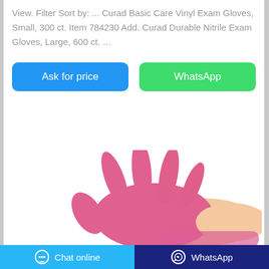View. Filter Sort by: ... Curad Basic Care Vinyl Exam Gloves, Small, 300 ct. Item 784230 Add. Curad Durable Nitrile Exam Gloves, Large, 600 ct. …
[Figure (other): Two buttons: 'Ask for price' (blue) and 'WhatsApp' (green)]
[Figure (photo): A pink nitrile exam glove being worn on a hand, fingers spread, photographed against a white background.]
[Figure (other): Bottom bar with 'Chat online' button (light blue with chat icon) and 'WhatsApp' button (dark blue with WhatsApp icon)]